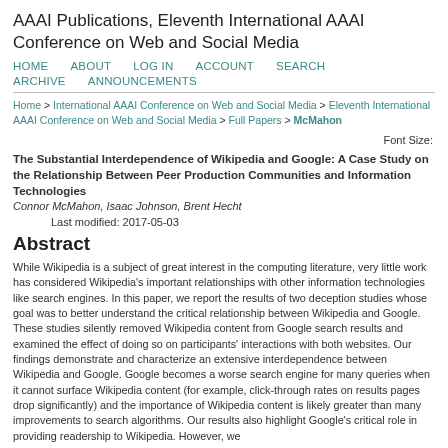AAAI Publications, Eleventh International AAAI Conference on Web and Social Media
HOME   ABOUT   LOG IN   ACCOUNT   SEARCH   ARCHIVE   ANNOUNCEMENTS
Home > International AAAI Conference on Web and Social Media > Eleventh International AAAI Conference on Web and Social Media > Full Papers > McMahon
Font Size:
The Substantial Interdependence of Wikipedia and Google: A Case Study on the Relationship Between Peer Production Communities and Information Technologies
Connor McMahon, Isaac Johnson, Brent Hecht
Last modified: 2017-05-03
Abstract
While Wikipedia is a subject of great interest in the computing literature, very little work has considered Wikipedia’s important relationships with other information technologies like search engines. In this paper, we report the results of two deception studies whose goal was to better understand the critical relationship between Wikipedia and Google. These studies silently removed Wikipedia content from Google search results and examined the effect of doing so on participants’ interactions with both websites. Our findings demonstrate and characterize an extensive interdependence between Wikipedia and Google. Google becomes a worse search engine for many queries when it cannot surface Wikipedia content (for example, click-through rates on results pages drop significantly) and the importance of Wikipedia content is likely greater than many improvements to search algorithms. Our results also highlight Google’s critical role in providing readership to Wikipedia. However, we